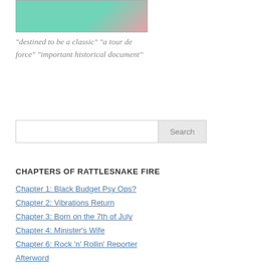[Figure (illustration): Book cover image with teal/green background and floral illustration]
"destined to be a classic" "a tour de force" "important historical document"
Search
CHAPTERS OF RATTLESNAKE FIRE
Chapter 1: Black Budget Psy Ops?
Chapter 2: Vibrations Return
Chapter 3: Born on the 7th of July
Chapter 4: Minister's Wife
Chapter 6: Rock 'n' Rollin' Reporter
Afterword